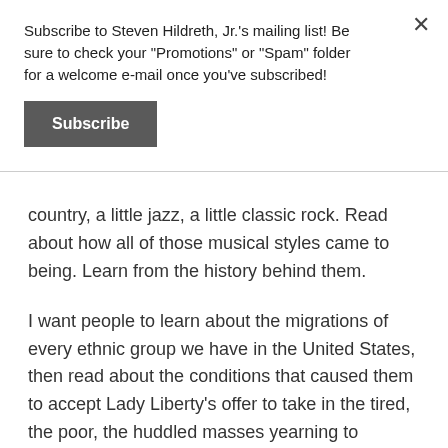Subscribe to Steven Hildreth, Jr.'s mailing list! Be sure to check your "Promotions" or "Spam" folder for a welcome e-mail once you've subscribed!
Subscribe
country, a little jazz, a little classic rock. Read about how all of those musical styles came to being. Learn from the history behind them.
I want people to learn about the migrations of every ethnic group we have in the United States, then read about the conditions that caused them to accept Lady Liberty's offer to take in the tired, the poor, the huddled masses yearning to breathe free.
Then, I want them to stop and realize that nowhere